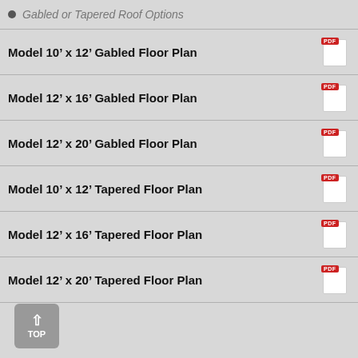Gabled or Tapered Roof Options
Model 10’ x 12’ Gabled Floor Plan
Model 12’ x 16’ Gabled Floor Plan
Model 12’ x 20’ Gabled Floor Plan
Model 10’ x 12’ Tapered Floor Plan
Model 12’ x 16’ Tapered Floor Plan
Model 12’ x 20’ Tapered Floor Plan